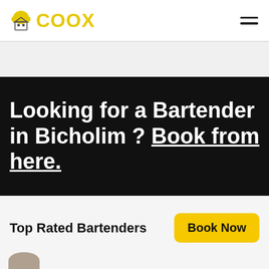COOX
Looking for a Bartender in Bicholim ? Book from here.
Top Rated Bartenders
Book Now